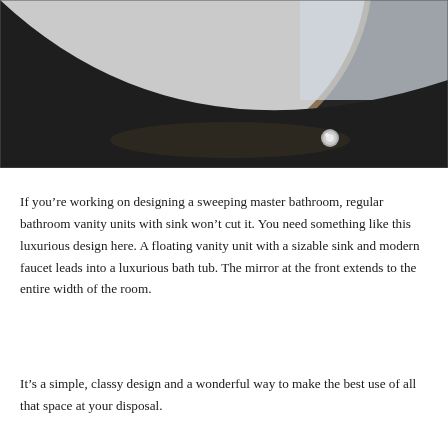[Figure (photo): Close-up photo of a dark matte bathroom surface, showing a curved edge of a large round mirror with a metallic rim, a drain or chrome knob detail on the dark countertop, and a glimpse of white wall/surface in the background.]
If you're working on designing a sweeping master bathroom, regular bathroom vanity units with sink won't cut it. You need something like this luxurious design here. A floating vanity unit with a sizable sink and modern faucet leads into a luxurious bath tub. The mirror at the front extends to the entire width of the room.
It's a simple, classy design and a wonderful way to make the best use of all that space at your disposal.